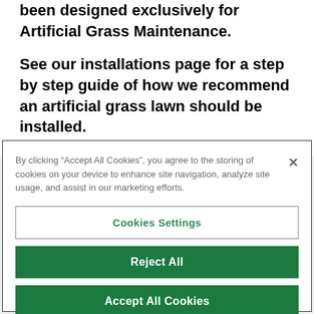been designed exclusively for Artificial Grass Maintenance.
See our installations page for a step by step guide of how we recommend an artificial grass lawn should be installed.
By clicking “Accept All Cookies”, you agree to the storing of cookies on your device to enhance site navigation, analyze site usage, and assist in our marketing efforts.
Cookies Settings
Reject All
Accept All Cookies